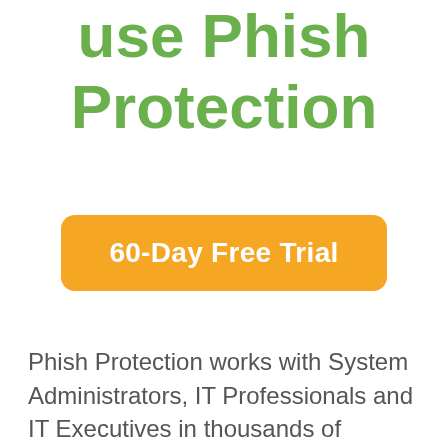use Phish Protection
60-Day Free Trial
Phish Protection works with System Administrators, IT Professionals and IT Executives in thousands of companies worldwide. Sign up and protect your